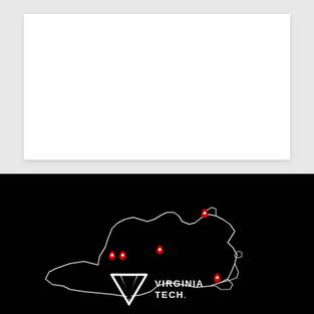[Figure (other): White blank rectangular area on light gray background, top half of page]
[Figure (map): Outline map of Virginia state on black background with red location pin markers at several points including Northern Virginia area, central Virginia, and western Virginia (Blacksburg area)]
[Figure (logo): Virginia Tech logo: VT monogram in white with 'VIRGINIA TECH.' text in white on black background]